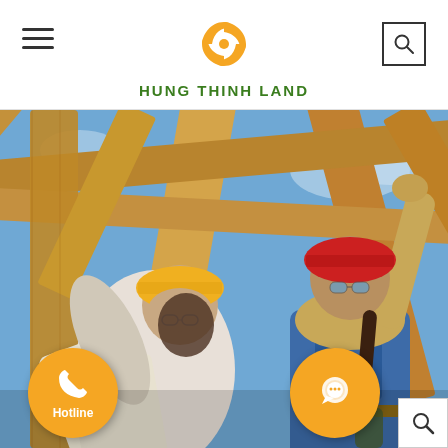HUNG THINH LAND
[Figure (photo): Two female construction workers in hard hats (one yellow, one red) examining blueprints under a wooden roof frame structure, looking upward. One holds rolled blueprints, the other points upward. Blue sky visible through the wooden beams.]
Hotline